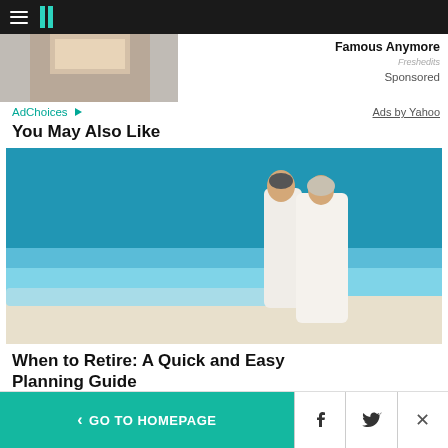HuffPost navigation bar with hamburger menu and logo
[Figure (photo): Advertisement image showing a woman, partially visible, with AdChoices label. Right side shows 'Famous Anymore' text, Freshedits branding, and Sponsored label.]
AdChoices
Sponsored
Ads by Yahoo
You May Also Like
[Figure (photo): Outdoor beach photo of an older couple dressed in white walking on a white sandy beach with clear blue water and sky in the background.]
When to Retire: A Quick and Easy Planning Guide
< GO TO HOMEPAGE | Facebook icon | Twitter icon | X (close) icon